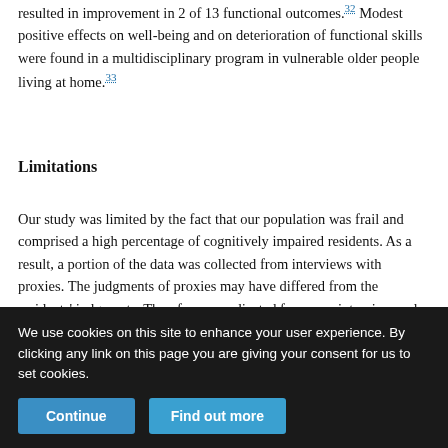resulted in improvement in 2 of 13 functional outcomes.[32] Modest positive effects on well-being and on deterioration of functional skills were found in a multidisciplinary program in vulnerable older people living at home.[33]
Limitations
Our study was limited by the fact that our population was frail and comprised a high percentage of cognitively impaired residents. As a result, a portion of the data was collected from interviews with proxies. The judgments of proxies may have differed from the residents' judgments. Therefore, we adjusted for proxy interview and cognitive status in our analyses. The cluster randomization produced an imbalance between the intervention and control facilties in the
We use cookies on this site to enhance your user experience. By clicking any link on this page you are giving your consent for us to set cookies.